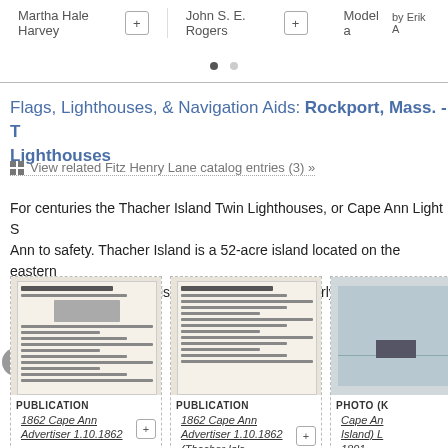Martha Hale Harvey [+]   John S. E. Rogers [+]   Model a by Erik A
[Figure (other): Two pagination dots indicating carousel position]
Flags, Lighthouses, & Navigation Aids: Rockport, Mass. - T Lighthouses
⊞ View related Fitz Henry Lane catalog entries (3) »
For centuries the Thacher Island Twin Lighthouses, or Cape Ann Light S Ann to safety. Thacher Island is a 52-acre island located on the eastern offshore and has been visited by Europeans as early as 1605, but didn'
[Figure (photo): Thumbnail image of 1862 Cape Ann Advertiser newspaper clipping 1.10.1862]
PUBLICATION
1862 Cape Ann Advertiser 1.10.1862 [+]
[Figure (photo): Thumbnail image of 1862 Cape Ann Advertiser newspaper clipping 1.10.1862 (Thacher Island)]
PUBLICATION
1862 Cape Ann Advertiser 1.10.1862 (Thacher Isla [+]
[Figure (photo): Photo thumbnail (partially visible) - Cape Ann Island Lighthouse 1891]
PHOTO (K
Cape An Island) L 1891